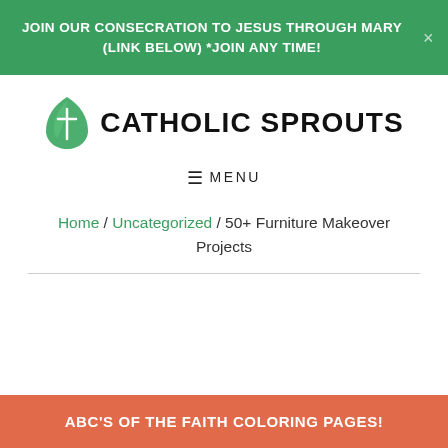JOIN OUR CONSECRATION TO JESUS THROUGH MARY (LINK BELOW) *JOIN ANY TIME!
[Figure (logo): Catholic Sprouts logo: green leaf with cross and text CATHOLIC SPROUTS]
≡ MENU
Home / Uncategorized / 50+ Furniture Makeover Projects
ABC'S OF THE FAITH COLORING PAGES!